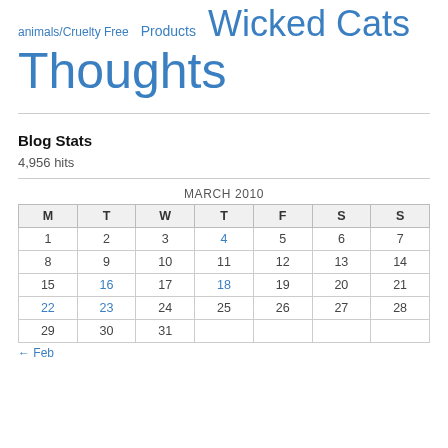animals/Cruelty Free   Products   Wicked Cats
Thoughts
Blog Stats
4,956 hits
MARCH 2010
| M | T | W | T | F | S | S |
| --- | --- | --- | --- | --- | --- | --- |
| 1 | 2 | 3 | 4 | 5 | 6 | 7 |
| 8 | 9 | 10 | 11 | 12 | 13 | 14 |
| 15 | 16 | 17 | 18 | 19 | 20 | 21 |
| 22 | 23 | 24 | 25 | 26 | 27 | 28 |
| 29 | 30 | 31 |  |  |  |  |